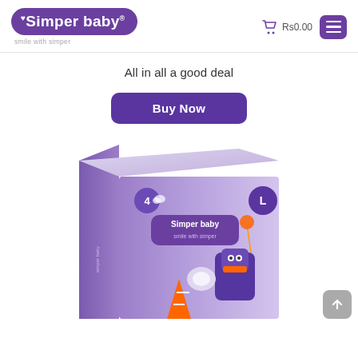[Figure (logo): Simper Baby logo - purple badge with 'Simper baby' text in white and tagline 'smile with simper' below]
Rs0.00
[Figure (other): Hamburger menu button - purple rounded rectangle with three white horizontal lines]
All in all a good deal
[Figure (other): Buy Now button - purple rounded rectangle with white bold text 'Buy Now']
[Figure (photo): Simper Baby diaper product packaging - purple package with 'L' size label, '4' count, 'Simper baby smile with simper' branding, cartoon robot/penguin character with balloons and orange/white geometric shapes]
[Figure (other): Scroll to top button - grey rounded square with upward arrow icon]